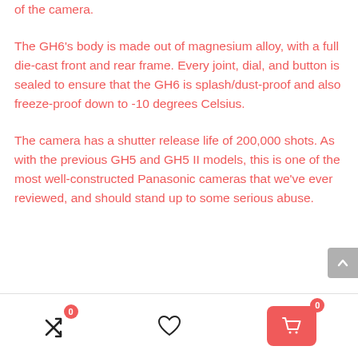of the camera.
The GH6's body is made out of magnesium alloy, with a full die-cast front and rear frame. Every joint, dial, and button is sealed to ensure that the GH6 is splash/dust-proof and also freeze-proof down to -10 degrees Celsius.
The camera has a shutter release life of 200,000 shots. As with the previous GH5 and GH5 II models, this is one of the most well-constructed Panasonic cameras that we've ever reviewed, and should stand up to some serious abuse.
Navigation bar with shuffle icon (badge: 0), heart/wishlist icon, and cart button (badge: 0)